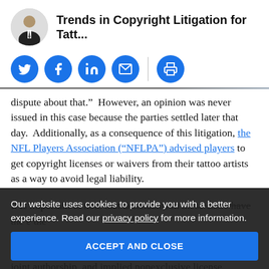Trends in Copyright Litigation for Tatt...
[Figure (other): Social sharing buttons: Twitter, Facebook, LinkedIn, Email, Print]
dispute about that.”  However, an opinion was never issued in this case because the parties settled later that day.  Additionally, as a consequence of this litigation, the NFL Players Association (“NFLPA”) advised players to get copyright licenses or waivers from their tattoo artists as a way to avoid legal liability.
It is important to note that defendants in these [cases have the] [obscured] the prior lawsuits regarding [obscured] issues settled [obscured] These defenses include fair use, work made for hire, joint authorship, and implied nonexclusive license.
Our website uses cookies to provide you with a better experience. Read our privacy policy for more information.
ACCEPT AND CLOSE